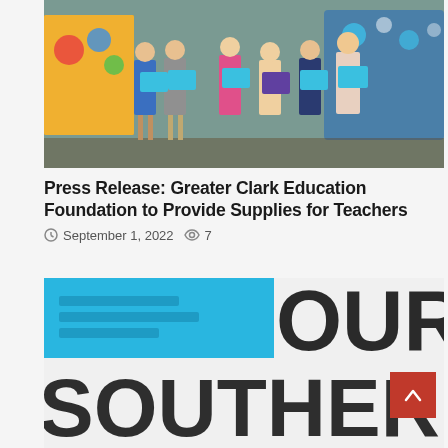[Figure (photo): Group of people standing in front of a colorful van/truck, holding blue and yellow signs/boxes. Back-to-school supplies distribution event.]
Press Release: Greater Clark Education Foundation to Provide Supplies for Teachers
September 1, 2022   7
[Figure (photo): Partially visible image showing large bold text reading 'OUR SOUTHERN' on a white/grey background with a blue banner section on the upper left.]